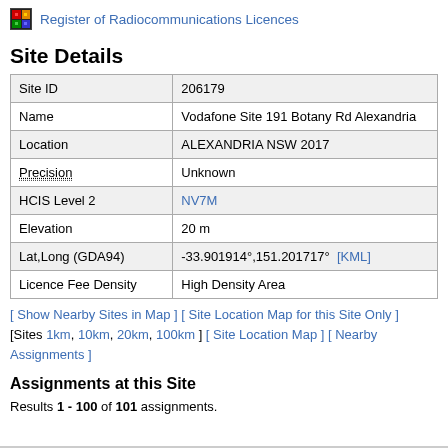Register of Radiocommunications Licences
Site Details
| Site ID | 206179 |
| Name | Vodafone Site 191 Botany Rd Alexandria |
| Location | ALEXANDRIA NSW 2017 |
| Precision | Unknown |
| HCIS Level 2 | NV7M |
| Elevation | 20 m |
| Lat,Long (GDA94) | -33.901914°,151.201717°  [KML] |
| Licence Fee Density | High Density Area |
[ Show Nearby Sites in Map ] [ Site Location Map for this Site Only ] [Sites 1km, 10km, 20km, 100km ] [ Site Location Map ] [ Nearby Assignments ]
Assignments at this Site
Results 1 - 100 of 101 assignments.